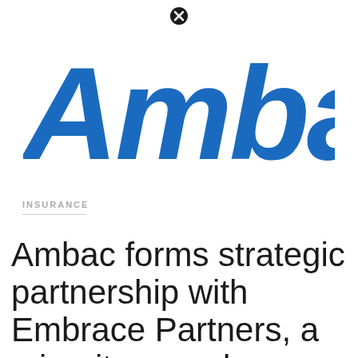[Figure (logo): Ambac company logo in bold italic blue lettering]
INSURANCE
Ambac forms strategic partnership with Embrace Partners, a minority-owned